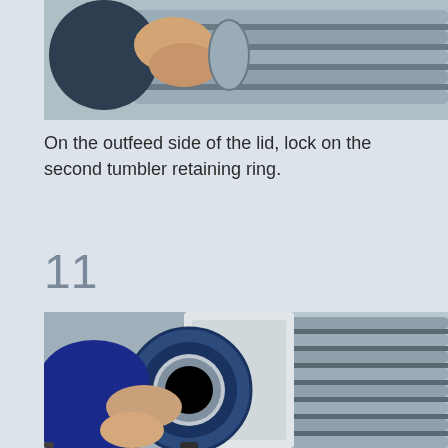[Figure (photo): Close-up photo of hands gripping a cylindrical mechanical component on a roller/tumbler assembly with metal rails in the background.]
On the outfeed side of the lid, lock on the second tumbler retaining ring.
11
[Figure (photo): Photo of a technician in a blue shirt installing or fitting a large circular blue retaining ring onto a white industrial machine with metal rollers visible in the background.]